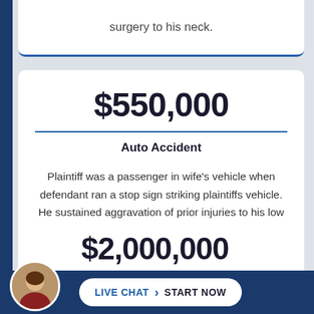surgery to his neck.
$550,000
Auto Accident
Plaintiff was a passenger in wife's vehicle when defendant ran a stop sign striking plaintiffs vehicle. He sustained aggravation of prior injuries to his low back requiring pain management procedures and spine surgery.
$2,000,000
LIVE CHAT › START NOW